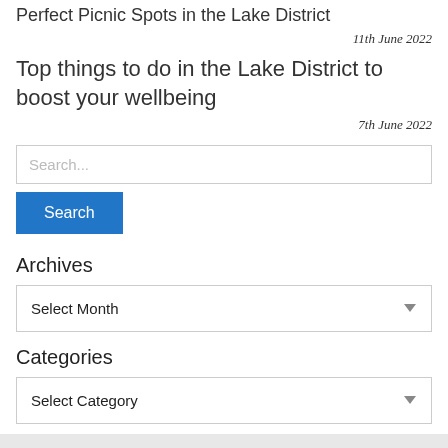Perfect Picnic Spots in the Lake District
11th June 2022
Top things to do in the Lake District to boost your wellbeing
7th June 2022
Search...
Search
Archives
Select Month
Categories
Select Category